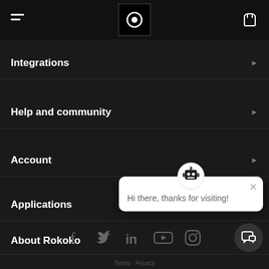Rokoko navigation header with hamburger menu, logo, and cart icon
Integrations
Help and community
Account
Applications
About Rokoko
[Figure (screenshot): Chat popup with robot bot icon and message: Hi there, thanks for visiting!]
[Figure (infographic): Social media icons: Facebook, Twitter, LinkedIn, YouTube, Instagram]
Terms · Privacy